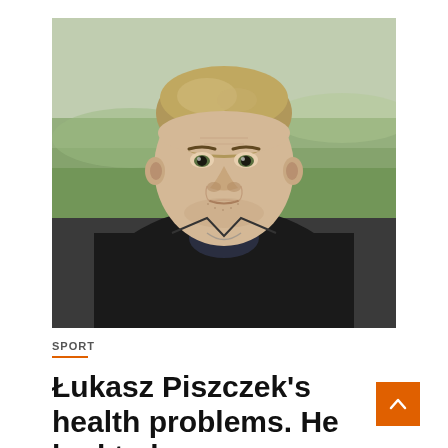[Figure (photo): Photo of Łukasz Piszczek, a man with slicked-back blonde hair wearing a black jacket, outdoors with a green field in the background]
SPORT
Łukasz Piszczek's health problems. He had to have surgery